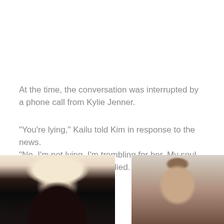At the time, the conversation was interrupted by a phone call from Kylie Jenner.
“You’re lying,” Kailu told Kim in response to the news.
“No, I’m not lying. I’m trembling for her. My soul has died for her,” Kim replied.
[Figure (photo): Two photos side by side: left photo shows a young woman with long black hair, right photo shows a young man with short curly hair]